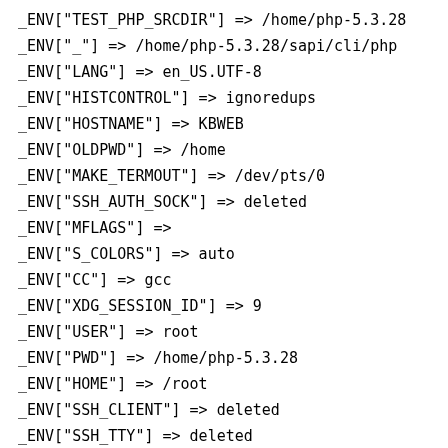_ENV["TEST_PHP_SRCDIR"] => /home/php-5.3.28
_ENV["_"] => /home/php-5.3.28/sapi/cli/php
_ENV["LANG"] => en_US.UTF-8
_ENV["HISTCONTROL"] => ignoredups
_ENV["HOSTNAME"] => KBWEB
_ENV["OLDPWD"] => /home
_ENV["MAKE_TERMOUT"] => /dev/pts/0
_ENV["SSH_AUTH_SOCK"] => deleted
_ENV["MFLAGS"] =>
_ENV["S_COLORS"] => auto
_ENV["CC"] => gcc
_ENV["XDG_SESSION_ID"] => 9
_ENV["USER"] => root
_ENV["PWD"] => /home/php-5.3.28
_ENV["HOME"] => /root
_ENV["SSH_CLIENT"] => deleted
_ENV["SSH_TTY"] => deleted
_ENV["MAIL"] => /var/spool/mail/root
_ENV["SHELL"] => /bin/bash